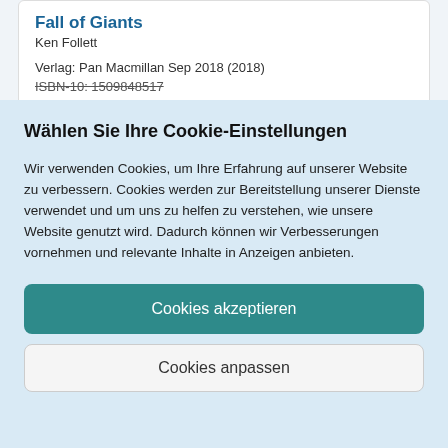Fall of Giants
Ken Follett
Verlag: Pan Macmillan Sep 2018 (2018)
ISBN-10: 1509848517
Wählen Sie Ihre Cookie-Einstellungen
Wir verwenden Cookies, um Ihre Erfahrung auf unserer Website zu verbessern. Cookies werden zur Bereitstellung unserer Dienste verwendet und um uns zu helfen zu verstehen, wie unsere Website genutzt wird. Dadurch können wir Verbesserungen vornehmen und relevante Inhalte in Anzeigen anbieten.
Cookies akzeptieren
Cookies anpassen